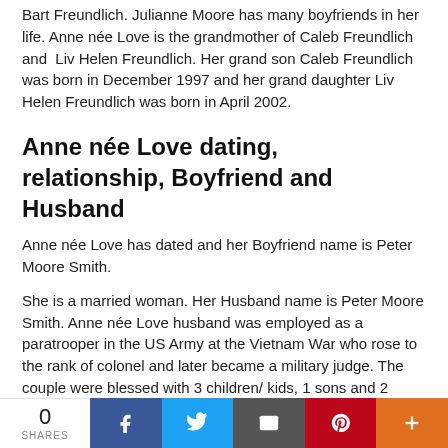Bart Freundlich. Julianne Moore has many boyfriends in her life. Anne née Love is the grandmother of Caleb Freundlich and Liv Helen Freundlich. Her grand son Caleb Freundlich was born in December 1997 and her grand daughter Liv Helen Freundlich was born in April 2002.
Anne née Love dating, relationship, Boyfriend and Husband
Anne née Love has dated and her Boyfriend name is Peter Moore Smith.
She is a married woman. Her Husband name is Peter Moore Smith. Anne née Love husband was employed as a paratrooper in the US Army at the Vietnam War who rose to the rank of colonel and later became a military judge. The couple were blessed with 3 children/ kids, 1 sons and 2 daughter were born. Anne née Love son name is Peter Moore Smith. Her daughter name are Valerie Smith and Julianne Moore. Julianne Moore is the eldest child of her
0 SHARES | Facebook | Twitter | Email | Pinterest | More